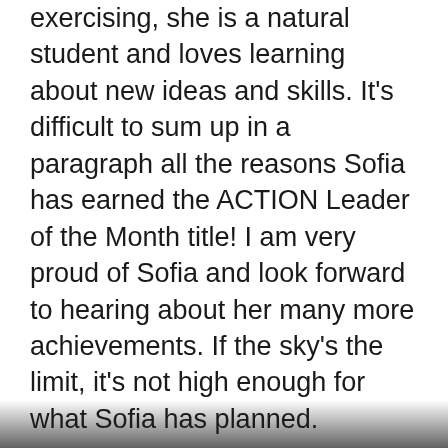exercising, she is a natural student and loves learning about new ideas and skills. It's difficult to sum up in a paragraph all the reasons Sofia has earned the ACTION Leader of the Month title! I am very proud of Sofia and look forward to hearing about her many more achievements. If the sky's the limit, it's not high enough for what Sofia has planned.
Coach Carly: Sofia's exuberance for FiT is matched only for her excitement for the success of her peers. Sofia is everyone's biggest cheerleader and encourages her friends both in moments of success and difficulty. Her ability to attune to other's